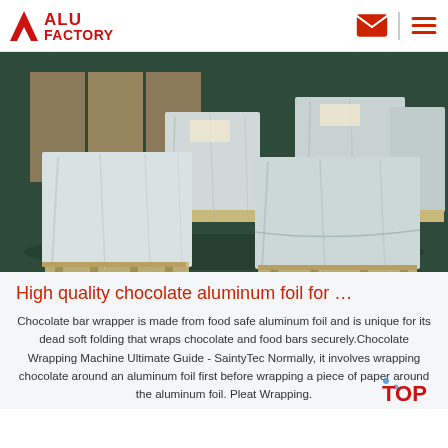ALU FACTORY
[Figure (photo): Warehouse with multiple large pallets wrapped in clear plastic/aluminum foil on wooden pallets, stored on a dark teal floor with boxed items in background.]
High quality chocolate aluminum foil for …
Chocolate bar wrapper is made from food safe aluminum foil and is unique for its dead soft folding that wraps chocolate and food bars securely.Chocolate Wrapping Machine Ultimate Guide - SaintyTec Normally, it involves wrapping chocolate around an aluminum foil first before wrapping a piece of paper around the aluminum foil. Pleat Wrapping.